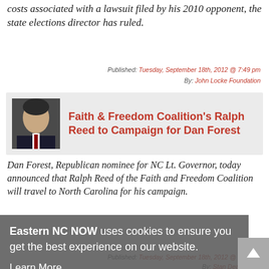costs associated with a lawsuit filed by his 2010 opponent, the state elections director has ruled.
Published: Tuesday, September 18th, 2012 @ 7:49 pm
By: John Locke Foundation
[Figure (photo): Portrait photo of man in suit, dark background]
Faith & Freedom Coalition's Ralph Reed to Campaign for Dan Forest
Dan Forest, Republican nominee for NC Lt. Governor, today announced that Ralph Reed of the Faith and Freedom Coalition will travel to North Carolina for his campaign.
Published: Tuesday, September 18th, 2012 @ 4:58 pm
By: Stan Deatherage
[Figure (photo): Portrait photo, small thumbnail]
Charlie Gibbs
Eastern NC NOW uses cookies to ensure you get the best experience on our website.
Learn More
Got it!